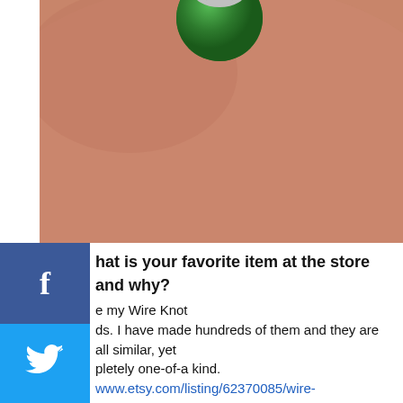[Figure (photo): Close-up photo of a green jade bead ring or jewelry piece on skin background, with silver wire work visible at top]
[Figure (infographic): Social media sharing sidebar with Facebook, Twitter, LinkedIn, Pinterest, Reddit, StumbleUpon/Mixx, Email, and back arrow buttons]
What is your favorite item at the store and why?
e my Wire Knot
ds. I have made hundreds of them and they are all similar, yet
pletely one-of-a kind. www.etsy.com/listing/62370085/wire-
-silver-stud-earrings-handmade?re…
hat inspires create your products?
ustomers inspire me. So many
ie items I have in my shop started out as custom items that I
ted for my customers and felt they were good enough to add
y
regular inventory. I also love reading the feedback they leave me. It
inspires me to make more unique designs. This week I received a
note